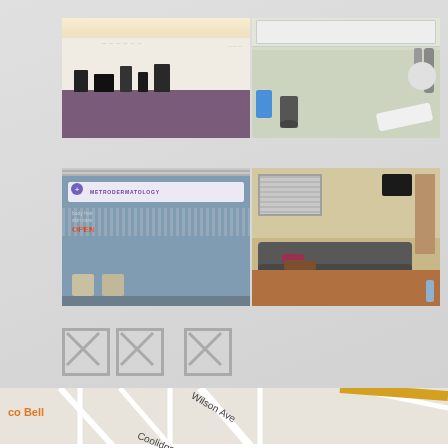[Figure (photo): Two photos side by side: left shows a medical clinic reception desk with purple tiled counter and overhead lighting; right shows a medical treatment room with examination table, equipment, and stool]
[Figure (photo): Two photos side by side: left shows the clinic entrance with glass doors, MetroDermatology sign, OPEN neon sign, and waiting chairs visible inside; right shows the clinic waiting room interior with sofa, coffee table, ottoman, and hardwood floors]
[Figure (infographic): Three broken image placeholder icons arranged horizontally]
[Figure (map): Google Maps screenshot showing street map with Wilson Ave, Coolidge Ave, Fort Lee High School labeled, with accessibility icon in bottom left corner and Taco Bell label on left side]